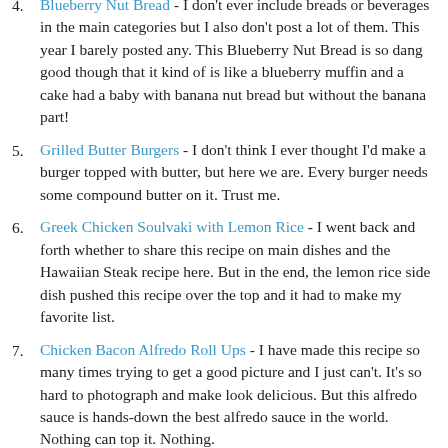Blueberry Nut Bread - I don't ever include breads or beverages in the main categories but I also don't post a lot of them. This year I barely posted any. This Blueberry Nut Bread is so dang good though that it kind of is like a blueberry muffin and a cake had a baby with banana nut bread but without the banana part!
Grilled Butter Burgers - I don't think I ever thought I'd make a burger topped with butter, but here we are. Every burger needs some compound butter on it. Trust me.
Greek Chicken Soulvaki with Lemon Rice - I went back and forth whether to share this recipe on main dishes and the Hawaiian Steak recipe here. But in the end, the lemon rice side dish pushed this recipe over the top and it had to make my favorite list.
Chicken Bacon Alfredo Roll Ups - I have made this recipe so many times trying to get a good picture and I just can't. It's so hard to photograph and make look delicious. But this alfredo sauce is hands-down the best alfredo sauce in the world. Nothing can top it. Nothing.
Pesto Spaghetti Carbonara - Here is the carbonara...